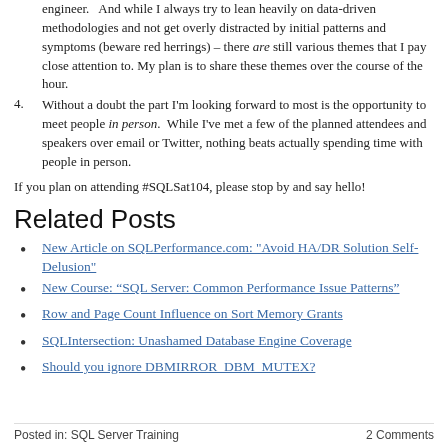engineer.   And while I always try to lean heavily on data-driven methodologies and not get overly distracted by initial patterns and symptoms (beware red herrings) – there are still various themes that I pay close attention to. My plan is to share these themes over the course of the hour.
4.    Without a doubt the part I'm looking forward to most is the opportunity to meet people in person.  While I've met a few of the planned attendees and speakers over email or Twitter, nothing beats actually spending time with people in person.
If you plan on attending #SQLSat104, please stop by and say hello!
Related Posts
New Article on SQLPerformance.com: "Avoid HA/DR Solution Self-Delusion"
New Course: “SQL Server: Common Performance Issue Patterns”
Row and Page Count Influence on Sort Memory Grants
SQLIntersection: Unashamed Database Engine Coverage
Should you ignore DBMIRROR_DBM_MUTEX?
Posted in: SQL Server Training    2 Comments